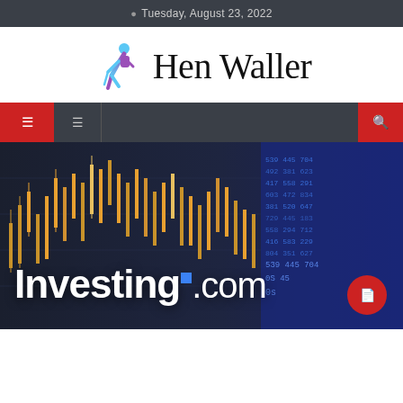Tuesday, August 23, 2022
[Figure (logo): Hen Waller logo with stylized hiker figure in purple and blue, next to serif text 'Hen Waller']
[Figure (screenshot): Navigation bar with red menu icon on left, dark background, red search icon on right]
[Figure (photo): Hero image showing stock market candlestick chart background in dark blue/orange tones with 'Investing.com' logo text overlay in white bold letters with blue square accent, and red circle button in bottom right]